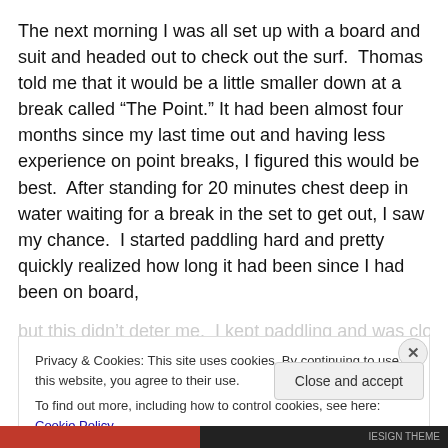The next morning I was all set up with a board and suit and headed out to check out the surf.  Thomas told me that it would be a little smaller down at a break called “The Point.” It had been almost four months since my last time out and having less experience on point breaks, I figured this would be best.  After standing for 20 minutes chest deep in water waiting for a break in the set to get out, I saw my chance.  I started paddling hard and pretty quickly realized how long it had been since I had been on board, but this didn’t deter me.  I kept paddling and was close to
Privacy & Cookies: This site uses cookies. By continuing to use this website, you agree to their use.
To find out more, including how to control cookies, see here: Cookie Policy
Close and accept